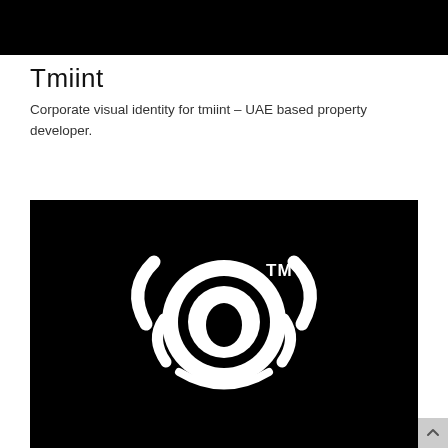[Figure (other): Black header bar at top of page]
Tmiint
Corporate visual identity for tmiint – UAE based property developer.
[Figure (logo): Tmiint logo on black background: a white stylized eye/headphone mark with concentric arcs and a central oval pupil, with TM superscript to the upper right]